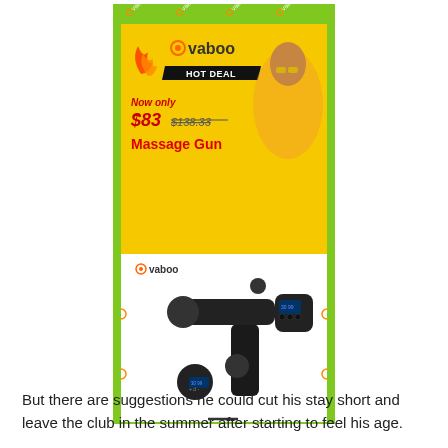[Figure (infographic): Ovaboo Hot Deal advertisement banner for Massage Gun. Yellow and green background with a woman wearing yellow sunglasses holding a phone. Features Ovaboo logo, HOT DEAL badge, price Now only $83 (was $138.33), product name Massage Gun. Below is a product image of a black massage gun with Ovaboo branding on white background.]
But there are suggestions he could cut his stay short and leave the club in the summer after starting to feel his age.